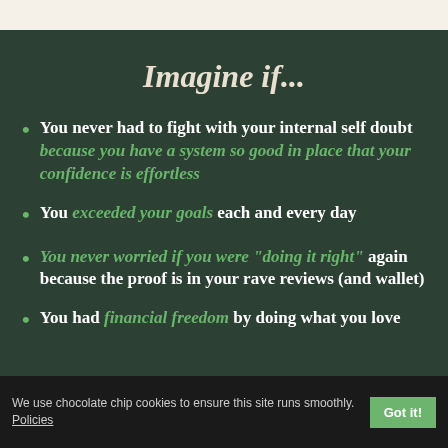Imagine if...
You never had to fight with your internal self doubt because you have a system so good in place that your confidence is effortless
You exceeded your goals each and every day
You never worried if you were "doing it right" again because the proof is in your rave reviews (and wallet)
You had financial freedom by doing what you love
We use chocolate chip cookies to ensure this site runs smoothly. Policies